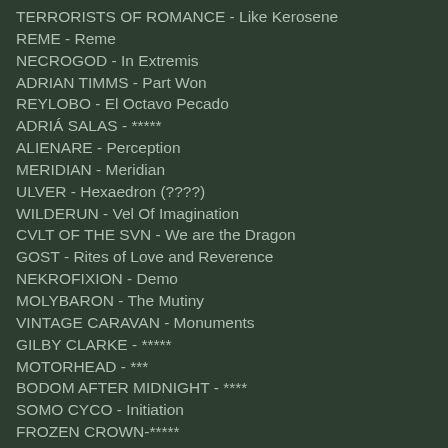TERRORISTS OF ROMANCE - Like Kerosene
REME - Reme
NECROGOD - In Extremis
ADRIAN TIMMS - Part Won
REYLOBO - El Octavo Pecado
ADRIÁ SALAS - *****
ALIENARE - Perception
MERIDIAN - Meridian
ULVER - Hexaedron (????)
WILDERUN - Vel Of Imagination
CVLT OF THE SVN - We are the Dragon
GOST - Rites of Love and Reverence
NEKROFIXION - Demo
MOLYBARON - The Mutiny
VINTAGE CARAVAN - Monuments
GILBY CLARKE - *****
MOTORHEAD - ***
BODOM AFTER MIDNIGHT - ****
SOMO CYCO - Initiation
FROZEN CROWN-*****
MARTA GABRIEL - Metal Queen
OPERA MAGNA - Jhon Williams Tribute
ALMACH - Dream Elegy
KARDASHEV- The Baring Of Shadows
AVANTASIA - A Paranormal Evening With The Moonflower Society